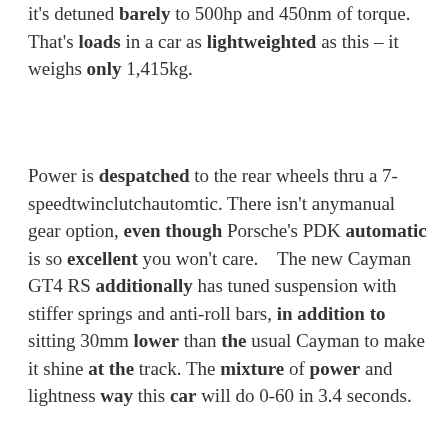it's detuned barely to 500hp and 450nm of torque. That's loads in a car as lightweighted as this – it weighs only 1,415kg.
Power is despatched to the rear wheels thru a 7-speedtwinclutchautomtic. There isn't anymanual gear option, even though Porsche's PDK automatic is so excellent you won't care.    The new Cayman GT4 RS additionally has tuned suspension with stiffer springs and anti-roll bars, in addition to sitting 30mm lower than the usual Cayman to make it shine at the track. The mixture of power and lightness way this car will do 0-60 in 3.4 seconds.